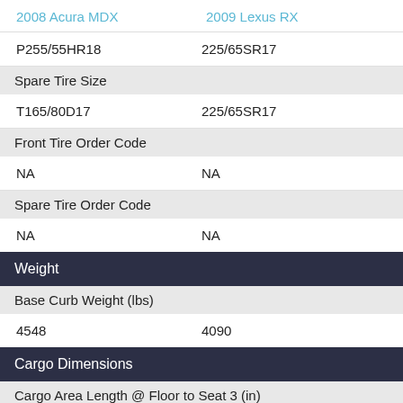2008 Acura MDX    2009 Lexus RX
|  | 2008 Acura MDX | 2009 Lexus RX |
| --- | --- | --- |
|  | P255/55HR18 | 225/65SR17 |
| Spare Tire Size |  |  |
|  | T165/80D17 | 225/65SR17 |
| Front Tire Order Code |  |  |
|  | NA | NA |
| Spare Tire Order Code |  |  |
|  | NA | NA |
Weight
|  | 2008 Acura MDX | 2009 Lexus RX |
| --- | --- | --- |
| Base Curb Weight (lbs) |  |  |
|  | 4548 | 4090 |
Cargo Dimensions
Cargo Area Length @ Floor to Seat 3 (in)